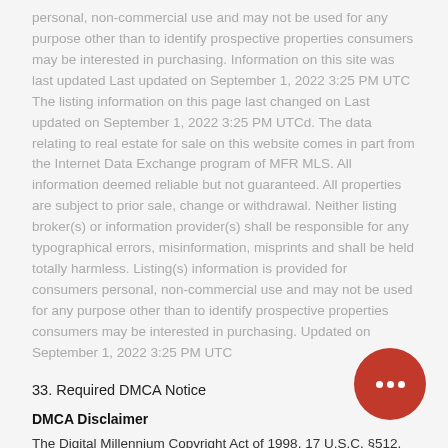personal, non-commercial use and may not be used for any purpose other than to identify prospective properties consumers may be interested in purchasing. Information on this site was last updated Last updated on September 1, 2022 3:25 PM UTC The listing information on this page last changed on Last updated on September 1, 2022 3:25 PM UTCd. The data relating to real estate for sale on this website comes in part from the Internet Data Exchange program of MFR MLS. All information deemed reliable but not guaranteed. All properties are subject to prior sale, change or withdrawal. Neither listing broker(s) or information provider(s) shall be responsible for any typographical errors, misinformation, misprints and shall be held totally harmless. Listing(s) information is provided for consumers personal, non-commercial use and may not be used for any purpose other than to identify prospective properties consumers may be interested in purchasing. Updated on September 1, 2022 3:25 PM UTC
33. Required DMCA Notice
DMCA Disclaimer
The Digital Millennium Copyright Act of 1998, 17 U.S.C. §512, the DMCA, provides recourse for copyright owners who believe that